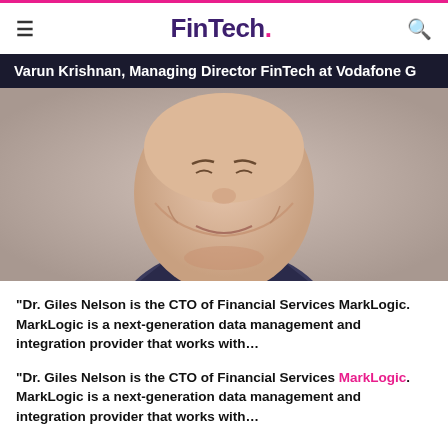FinTech.
Varun Krishnan, Managing Director FinTech at Vodafone G
[Figure (photo): Close-up portrait photo of a smiling man in a dark suit with a blue collared shirt, grey background]
“Dr. Giles Nelson is the CTO of Financial Services MarkLogic. MarkLogic is a next-generation data management and integration provider that works with…
“Dr. Giles Nelson is the CTO of Financial Services MarkLogic. MarkLogic is a next-generation data management and integration provider that works with… more financial services organisations